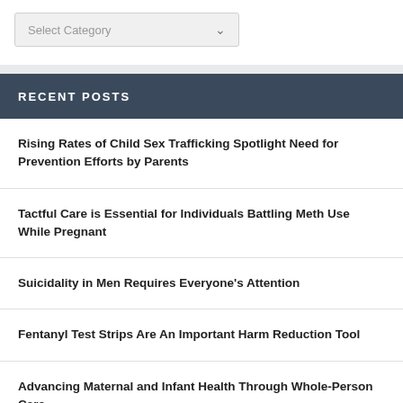[Figure (screenshot): A dropdown select box labeled 'Select Category' with a chevron icon on a light gray background inside a white widget panel]
RECENT POSTS
Rising Rates of Child Sex Trafficking Spotlight Need for Prevention Efforts by Parents
Tactful Care is Essential for Individuals Battling Meth Use While Pregnant
Suicidality in Men Requires Everyone's Attention
Fentanyl Test Strips Are An Important Harm Reduction Tool
Advancing Maternal and Infant Health Through Whole-Person Care